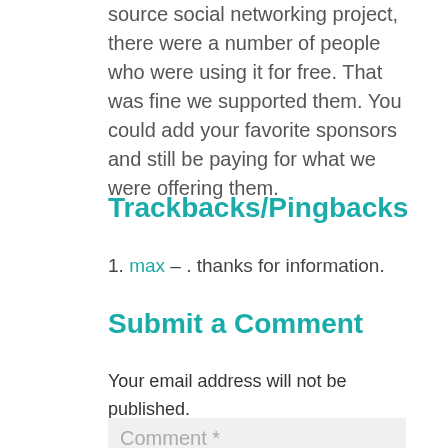source social networking project, there were a number of people who were using it for free. That was fine we supported them. You could add your favorite sponsors and still be paying for what we were offering them.
Trackbacks/Pingbacks
1. max - . thanks for information.
Submit a Comment
Your email address will not be published. Required fields are marked *
Comment *